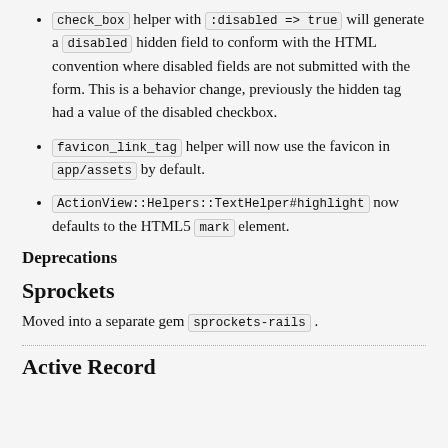check_box helper with :disabled => true will generate a disabled hidden field to conform with the HTML convention where disabled fields are not submitted with the form. This is a behavior change, previously the hidden tag had a value of the disabled checkbox.
favicon_link_tag helper will now use the favicon in app/assets by default.
ActionView::Helpers::TextHelper#highlight now defaults to the HTML5 mark element.
Deprecations
Sprockets
Moved into a separate gem sprockets-rails .
Active Record